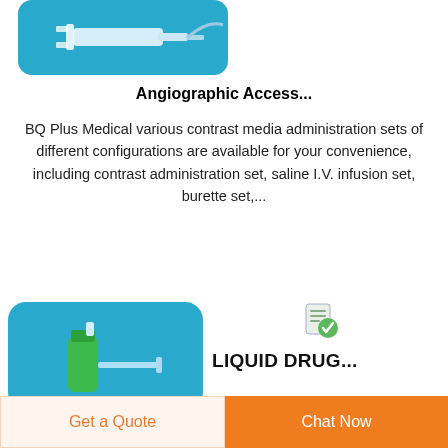[Figure (photo): Medical syringe and tubing on blue background (partial view, top cropped)]
Angiographic Access...
BQ Plus Medical various contrast media administration sets of different configurations are available for your convenience, including contrast administration set, saline I.V. infusion set, burette set,...
[Figure (photo): Green medical vial/connector with tubing on blue background]
[Figure (logo): Small badge/certificate icon]
LIQUID DRUG...
Get a Quote
Chat Now